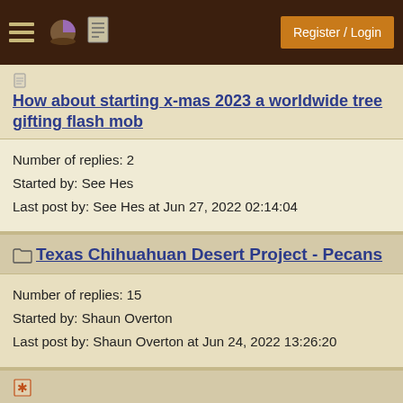Register / Login
How about starting x-mas 2023 a worldwide tree gifting flash mob
Number of replies: 2
Started by: See Hes
Last post by: See Hes at Jun 27, 2022 02:14:04
Texas Chihuahuan Desert Project - Pecans
Number of replies: 15
Started by: Shaun Overton
Last post by: Shaun Overton at Jun 24, 2022 13:26:20
Screaming hot spot in the garden where nothing can grow. Cheap/free suggestions anyone?